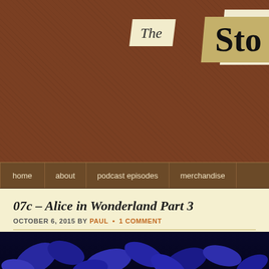[Figure (screenshot): Website header banner with brown wood-textured background. Shows 'The Disney Sto' logo text in cream/gold colored banner shapes with black gothic/blackletter font.]
home | about | podcast episodes | merchandise
07c – Alice in Wonderland Part 3
OCTOBER 6, 2015 BY PAUL • 1 COMMENT
[Figure (screenshot): Audio player widget with dark background, play button triangle, time display 00:00, and progress bar.]
Podcast: Play in new window | Download
Subscribe: RSS
[Figure (photo): Dark image with blue/purple leaf or floral shapes on black background, partially visible at bottom of page.]